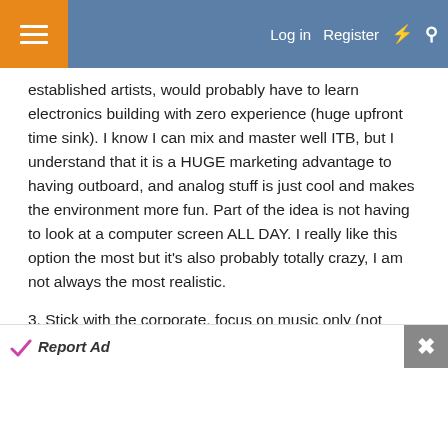Log in  Register
established artists, would probably have to learn electronics building with zero experience (huge upfront time sink). I know I can mix and master well ITB, but I understand that it is a HUGE marketing advantage to having outboard, and analog stuff is just cool and makes the environment more fun. Part of the idea is not having to look at a computer screen ALL DAY. I really like this option the most but it's also probably totally crazy, I am not always the most realistic.
3. Stick with the corporate, focus on music only (not mixing). In this scenario, I would not be pursuing an audio engineering career, but would completely lever into music as a career in my free time. The downside here is my audio career pursuit would be quite one-
Report Ad